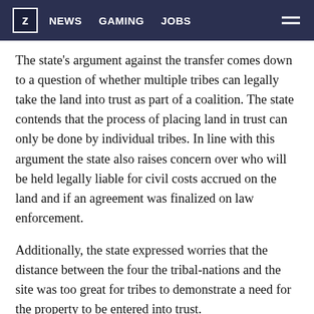Z  NEWS  GAMING  JOBS
The state's argument against the transfer comes down to a question of whether multiple tribes can legally take the land into trust as part of a coalition. The state contends that the process of placing land in trust can only be done by individual tribes. In line with this argument the state also raises concern over who will be held legally liable for civil costs accrued on the land and if an agreement was finalized on law enforcement.
Additionally, the state expressed worries that the distance between the four the tribal-nations and the site was too great for tribes to demonstrate a need for the property to be entered into trust.
“The Rosebud Reservation is the closest reservation to Pe’ Sla, 170 miles away. This distance requires the Secretary to give great scrutiny to the justification for taking this